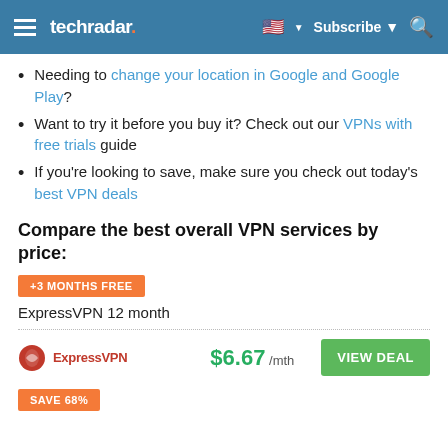techradar | Subscribe
Needing to change your location in Google and Google Play?
Want to try it before you buy it? Check out our VPNs with free trials guide
If you're looking to save, make sure you check out today's best VPN deals
Compare the best overall VPN services by price:
+3 MONTHS FREE
ExpressVPN 12 month
$6.67 /mth  VIEW DEAL
SAVE 68%